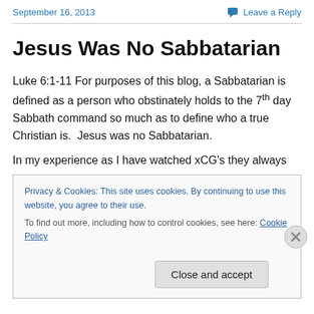September 16, 2013   Leave a Reply
Jesus Was No Sabbatarian
Luke 6:1-11 For purposes of this blog, a Sabbatarian is defined as a person who obstinately holds to the 7th day Sabbath command so much as to define who a true Christian is.  Jesus was no Sabbatarian.
In my experience as I have watched xCG's they always
Privacy & Cookies: This site uses cookies. By continuing to use this website, you agree to their use.
To find out more, including how to control cookies, see here: Cookie Policy
Close and accept